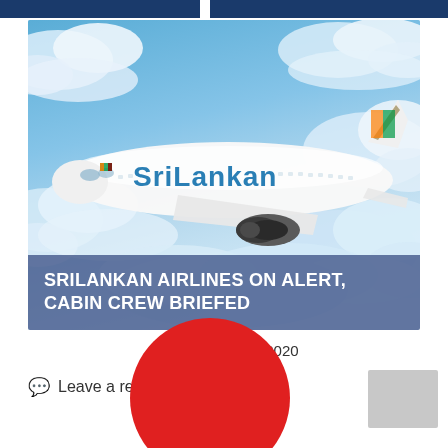[Figure (photo): SriLankan Airlines aircraft in flight against a blue sky with clouds. The white airplane has 'SriLankan' written in teal/blue letters on the fuselage with the Sri Lankan flag on the tail. A large turbofan engine is visible below the wing. Title overlay reads: SRILANKAN AIRLINES ON ALERT, CABIN CREW BRIEFED]
SRILANKAN AIRLINES ON ALERT, CABIN CREW BRIEFED
24th January 2020
Leave a reply